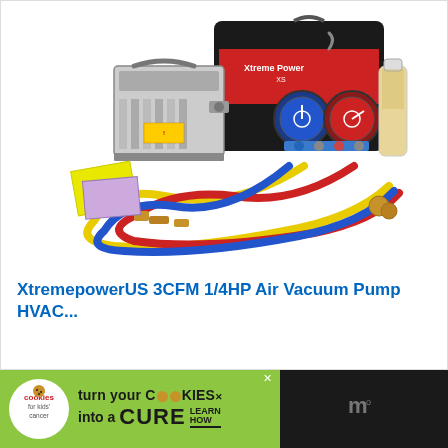[Figure (photo): Product photo of XtremepowerUS HVAC kit showing a vacuum pump, manifold gauge set with blue and red gauges, red/black carrying bag with Xtreme Power branding, yellow/red/blue refrigerant hoses, brass fittings, and a bottle of oil on a white background.]
XtremepowerUS 3CFM 1/4HP Air Vacuum Pump HVAC...
[Figure (other): Advertisement banner: 'cookies for kids cancer' logo on green background. Text reads 'turn your COOKIES into a CURE LEARN HOW' with an X close button. Dark area on right with stylized W icon.]